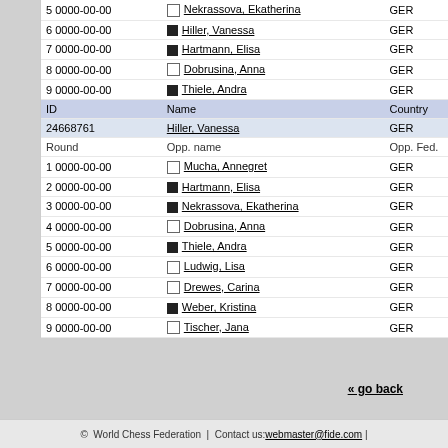| ID | Name | Country |
| --- | --- | --- |
| 5 0000-00-00 | Nekrassova, Ekatherina | GER |
| 6 0000-00-00 | Hiller, Vanessa | GER |
| 7 0000-00-00 | Hartmann, Elisa | GER |
| 8 0000-00-00 | Dobrusina, Anna | GER |
| 9 0000-00-00 | Thiele, Andra | GER |
| ID | Name | Country |
| 24668761 | Hiller, Vanessa | GER |
| Round | Opp. name | Opp. Fed. |
| 1 0000-00-00 | Mucha, Annegret | GER |
| 2 0000-00-00 | Hartmann, Elisa | GER |
| 3 0000-00-00 | Nekrassova, Ekatherina | GER |
| 4 0000-00-00 | Dobrusina, Anna | GER |
| 5 0000-00-00 | Thiele, Andra | GER |
| 6 0000-00-00 | Ludwig, Lisa | GER |
| 7 0000-00-00 | Drewes, Carina | GER |
| 8 0000-00-00 | Weber, Kristina | GER |
| 9 0000-00-00 | Tischer, Jana | GER |
« go back
© World Chess Federation | Contact us: webmaster@fide.com |